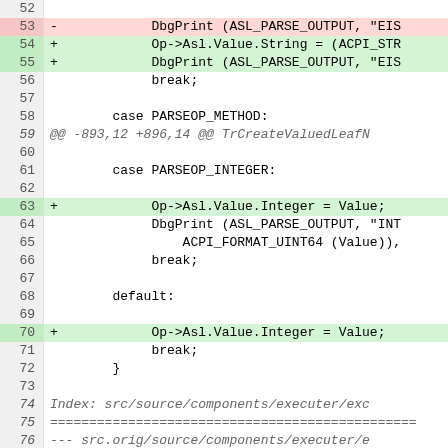[Figure (screenshot): Code diff view showing lines 52–76 of a source file with added (green) and removed (red) lines. Line 53 is a deletion of DbgPrint call. Lines 54, 55 are additions. Lines 58, 61, 68 show case statements. Line 63 and 70 add Op->Asl.Value.Integer = Value;. Lines 74–76 show an index/diff header for executer source.]